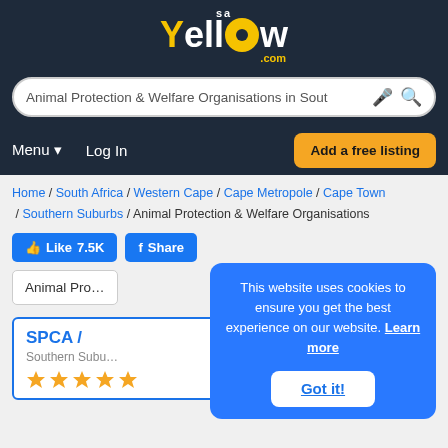[Figure (logo): saYellow.com logo on dark navy background, yellow Y and circular O, white text]
Animal Protection & Welfare Organisations in Sout [microphone icon] [search icon]
Menu ▾   Log In   Add a free listing
Home / South Africa / Western Cape / Cape Metropole / Cape Town / Southern Suburbs / Animal Protection & Welfare Organisations
👍 Like 7.5K   Share
Animal Pro...
SPCA /...
Southern Subu...
This website uses cookies to ensure you get the best experience on our website. Learn more
Got it!